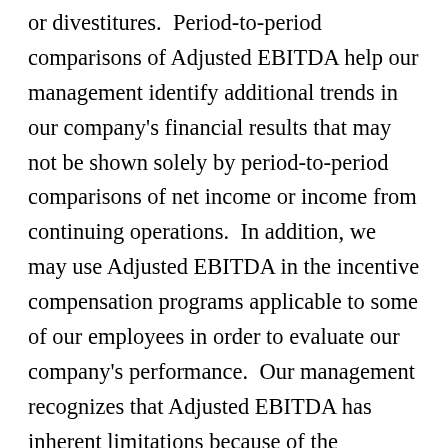or divestitures.  Period-to-period comparisons of Adjusted EBITDA help our management identify additional trends in our company's financial results that may not be shown solely by period-to-period comparisons of net income or income from continuing operations.  In addition, we may use Adjusted EBITDA in the incentive compensation programs applicable to some of our employees in order to evaluate our company's performance.  Our management recognizes that Adjusted EBITDA has inherent limitations because of the excluded items, particularly those items that are recurring in nature.  In order to compensate for those limitations, management also reviews the specific items that are excluded from Adjusted EBITDA, but included in net income or income from continuing operations, as well as trends in those items.  The amounts of those items are set forth, for the applicable periods, in the reconciliations of Adjusted EBITDA to net income or income from continuing